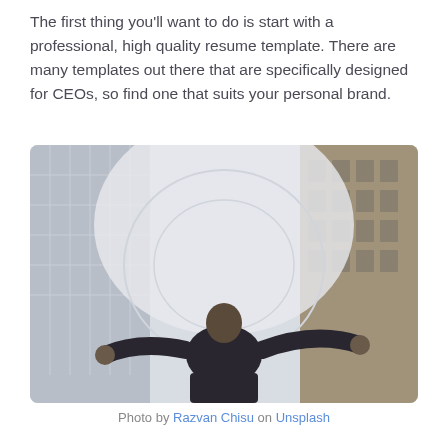The first thing you'll want to do is start with a professional, high quality resume template. There are many templates out there that are specifically designed for CEOs, so find one that suits your personal brand.
[Figure (photo): A man in a dark suit viewed from behind with arms raised wide, standing between tall glass and concrete skyscraper buildings, shot from a low angle looking up.]
Photo by Razvan Chisu on Unsplash